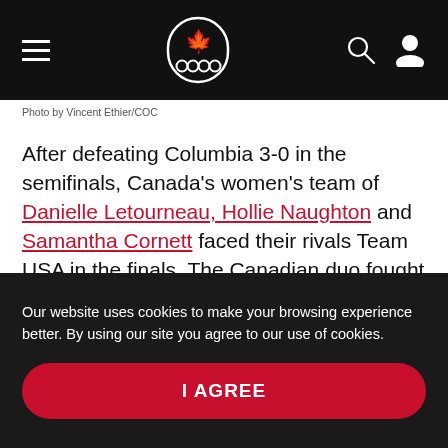[Figure (screenshot): Canadian Olympic Committee website navigation bar with hamburger menu, maple leaf/Olympic rings logo, search icon, and user profile icon on black background]
Photo by Vincent Ethier/COC
After defeating Columbia 3-0 in the semifinals, Canada's women's team of Danielle Letourneau, Hollie Naughton and Samantha Cornett faced their rivals Team USA in the finals. The Canadian duo fought a tough match and finished with silver.
The men's team of Shawn Delierre, Nicholas Sachvie
Our website uses cookies to make your browsing experience better. By using our site you agree to our use of cookies.